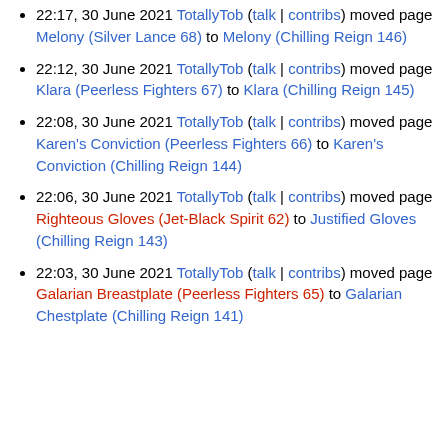22:17, 30 June 2021 TotallyTob (talk | contribs) moved page Melony (Silver Lance 68) to Melony (Chilling Reign 146)
22:12, 30 June 2021 TotallyTob (talk | contribs) moved page Klara (Peerless Fighters 67) to Klara (Chilling Reign 145)
22:08, 30 June 2021 TotallyTob (talk | contribs) moved page Karen's Conviction (Peerless Fighters 66) to Karen's Conviction (Chilling Reign 144)
22:06, 30 June 2021 TotallyTob (talk | contribs) moved page Righteous Gloves (Jet-Black Spirit 62) to Justified Gloves (Chilling Reign 143)
22:03, 30 June 2021 TotallyTob (talk | contribs) moved page Galarian Breastplate (Peerless Fighters 65) to Galarian Chestplate (Chilling Reign 141)